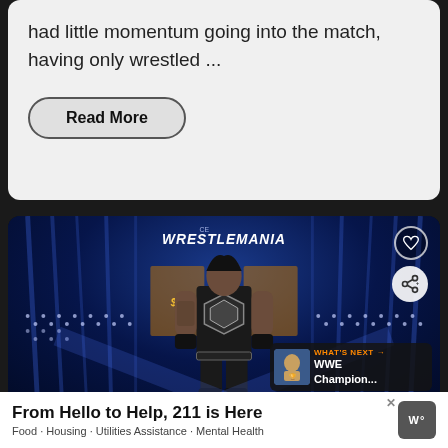had little momentum going into the match, having only wrestled ...
Read More
[Figure (photo): WWE WrestleMania event photo showing a male wrestler (Roman Reigns) standing on stage with blue lighting, light beams, and WrestleMania signage in the background. Heart and share icons visible on right side. 'What's Next' overlay showing 'WWE Champion...' in bottom right.]
From Hello to Help, 211 is Here
Food · Housing · Utilities Assistance · Mental Health